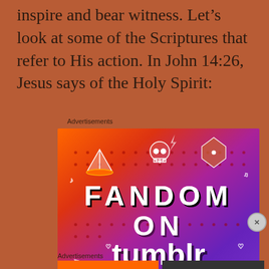inspire and bear witness.  Let's look at some of the Scriptures that refer to His action.  In John 14:26, Jesus says of the Holy Spirit:
Advertisements
[Figure (illustration): Fandom on Tumblr advertisement banner with colorful gradient background (orange to purple), featuring text 'FANDOM ON tumblr' and various illustrated icons including a sailboat, skull, dice, octopus, and leaf characters.]
Advertisements